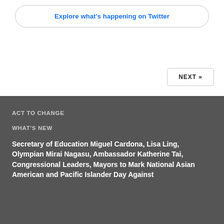Explore what's happening on Twitter
NEXT »
ACT TO CHANGE
WHAT'S NEW
Secretary of Education Miguel Cardona, Lisa Ling, Olympian Mirai Nagasu, Ambassador Katherine Tai, Congressional Leaders, Mayors to Mark National Asian American and Pacific Islander Day Against